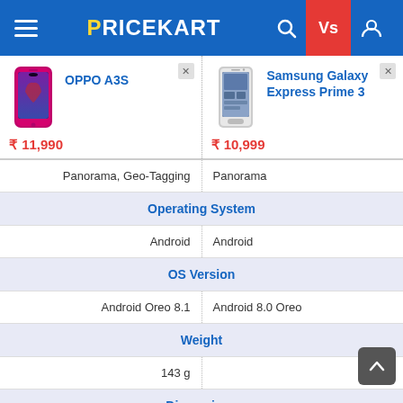PRICEKART
| OPPO A3S | Samsung Galaxy Express Prime 3 |
| --- | --- |
| ₹11,990 | ₹10,999 |
| Panorama, Geo-Tagging | Panorama |
| Operating System |  |
| Android | Android |
| OS Version |  |
| Android Oreo 8.1 | Android 8.0 Oreo |
| Weight |  |
| 143 g |  |
| Dimensions |  |
| 156.2 x 75.6 x 8.2 mm |  |